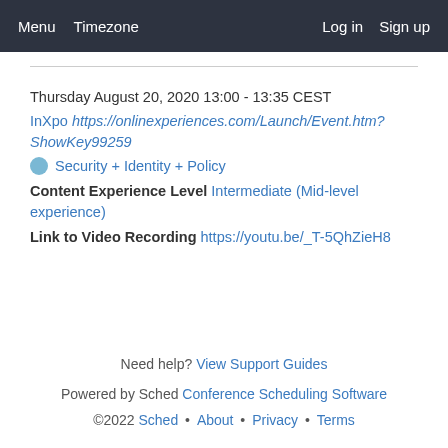Menu  Timezone  Log in  Sign up
Thursday August 20, 2020 13:00 - 13:35 CEST
InXpo https://onlinexperiences.com/Launch/Event.htm?ShowKey99259
Security + Identity + Policy
Content Experience Level Intermediate (Mid-level experience)
Link to Video Recording https://youtu.be/_T-5QhZieH8
Need help? View Support Guides
Powered by Sched Conference Scheduling Software ©2022 Sched • About • Privacy • Terms